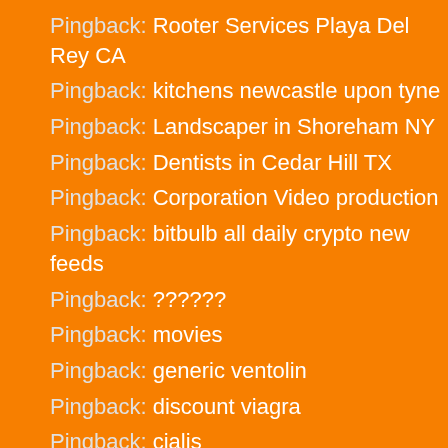Pingback: Rooter Services Playa Del Rey CA
Pingback: kitchens newcastle upon tyne
Pingback: Landscaper in Shoreham NY
Pingback: Dentists in Cedar Hill TX
Pingback: Corporation Video production
Pingback: bitbulb all daily crypto new feeds
Pingback: ??????
Pingback: movies
Pingback: generic ventolin
Pingback: discount viagra
Pingback: cialis
Utilizziamo i cookie per personalizzare i contenuti e gli annunci, fornire le funzioni dei social media e analizzare il nostro traffico. Inoltre forniamo informazioni sul modo in cui utilizzi il nostro sito ai nostri partner che si occupano di analisi dei dati web, pubblicità e social media, i quali potrebbero combinarle con altre informazioni che hai fornito loro o che hanno raccolto in base al tuo utilizzo dei loro servizi.
Ok  No